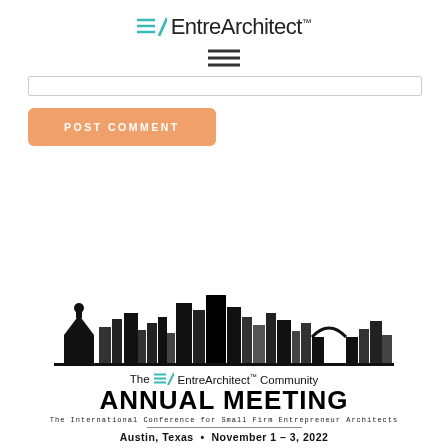EntreArchitect™
[Figure (logo): EntreArchitect logo with teal EA icon and text, followed by hamburger menu icon]
POST COMMENT button and search bar input
[Figure (illustration): Austin Texas skyline silhouette in black with The EntreArchitect Community Annual Meeting banner. Text reads: The International Conference for Small Firm Entrepreneur Architects. Austin, Texas • November 1 - 3, 2022]